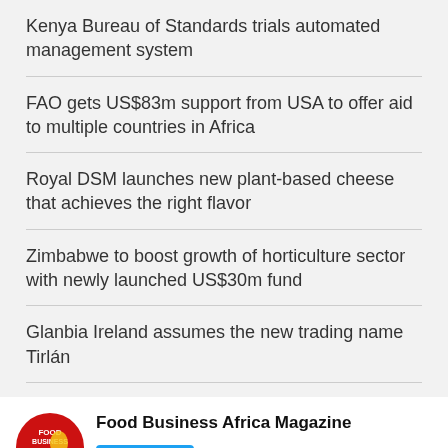Kenya Bureau of Standards trials automated management system
FAO gets US$83m support from USA to offer aid to multiple countries in Africa
Royal DSM launches new plant-based cheese that achieves the right flavor
Zimbabwe to boost growth of horticulture sector with newly launched US$30m fund
Glanbia Ireland assumes the new trading name Tirlán
[Figure (other): Food Business Africa Magazine Twitter follow widget with red circular logo and Follow button]
[Figure (other): Food Business Africa Magazine tweet preview with square logo, handle @foodbizafrica]